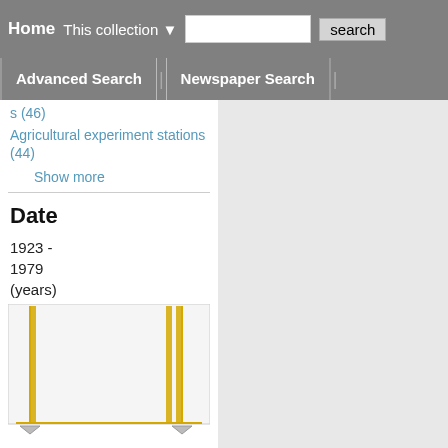Home | This collection ▼ | [search box] | search
Advanced Search | Newspaper Search
s (46)
Agricultural experiment stations (44)
Show more
Date
1923 - 1979 (years)
[Figure (bar-chart): Date range slider histogram showing bars in gold/yellow color between approximately 1923 and 1979 range with two vertical bar peaks]
Filter
Specify date